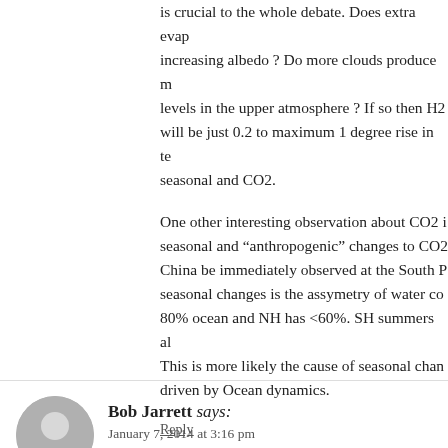is crucial to the whole debate. Does extra evap increasing albedo ? Do more clouds produce more levels in the upper atmosphere ? If so then H2 will be just 0.2 to maximum 1 degree rise in te seasonal and CO2.
One other interesting observation about CO2 i seasonal and “anthropogenic” changes to CO2 China be immediately observed at the South P seasonal changes is the assymetry of water co 80% ocean and NH has <60%. SH summers al This is more likely the cause of seasonal chan driven by Ocean dynamics.
Reply
Bob Jarrett says:
January 7, 2014 at 3:16 pm